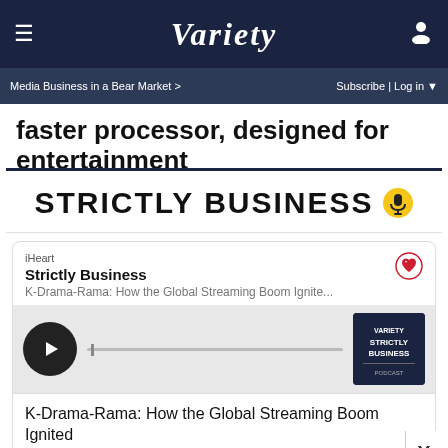VARIETY — Media Business in a Bear Market > | Subscribe | Log in
faster processor, designed for entertainment
[Figure (screenshot): Strictly Business podcast embed widget from iHeart showing episode 'K-Drama-Rama: How the Global Streaming Boom Ignited Demand for Content From Asia' with play button and album art]
K-Drama-Rama: How the Global Streaming Boom Ignited Demand for Content From Asia